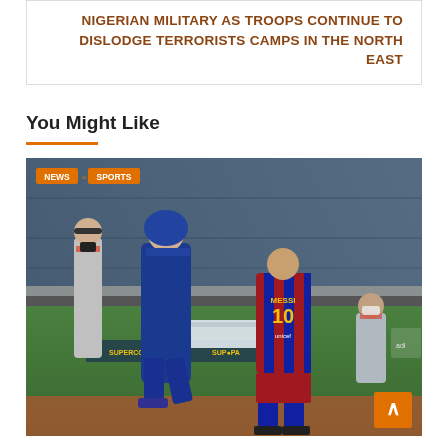NIGERIAN MILITARY AS TROOPS CONTINUE TO DISLODGE TERRORISTS CAMPS IN THE NORTH EAST
You Might Like
[Figure (photo): Football photo showing Lionel Messi wearing Barcelona jersey number 10 and a coach walking on the sideline, with staff and officials in background, during a Supercopa match.]
NEWS  SPORTS